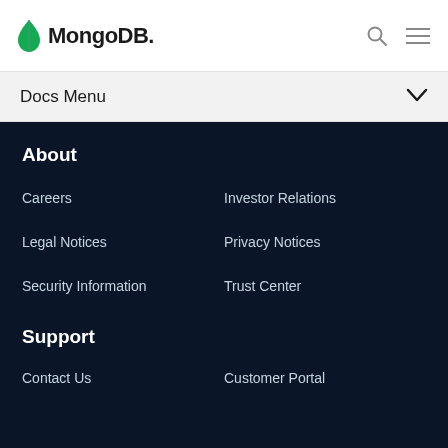MongoDB
Docs Menu
About
Careers
Investor Relations
Legal Notices
Privacy Notices
Security Information
Trust Center
Support
Contact Us
Customer Portal